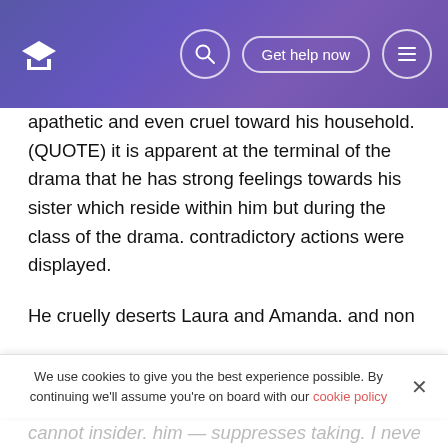Get help now
apathetic and even cruel toward his household. (QUOTE) it is apparent at the terminal of the drama that he has strong feelings towards his sister which reside within him but during the class of the drama. contradictory actions were displayed.
He cruelly deserts Laura and Amanda. and non one time in the class of the drama does he act kindly or fondly toward Laura—not even when he knocks down her glass menagerie. His occupation to him is like a dream. unreal in which he despises and would instead person pick up a wrecking bar and hitter out his encephalons than go back in the
We use cookies to give you the best experience possible. By continuing we'll assume you're on board with our cookie policy